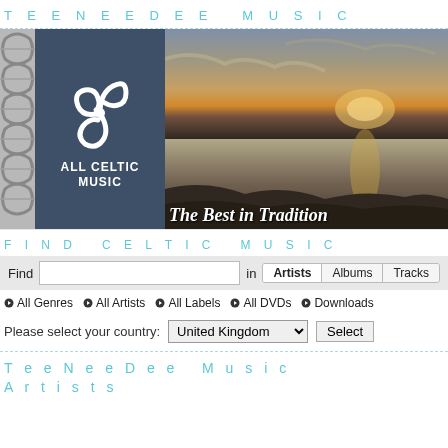T E E N E E D E E   M U S I C
[Figure (logo): All Celtic Music logo with triskelion symbol on dark blue background, flanked by a Celtic knot image on the left and a coastal sunset photograph on the right with text 'The Best in Tradition']
F I N D   C E L T I C   M U S I C
Find [search box] in Artists | Albums | Tracks
All Genres
All Artists
All Labels
All DVDs
Downloads
Please select your country: United Kingdom [Select]
T e e N e e D e e   M u s i c
A r t i s t s